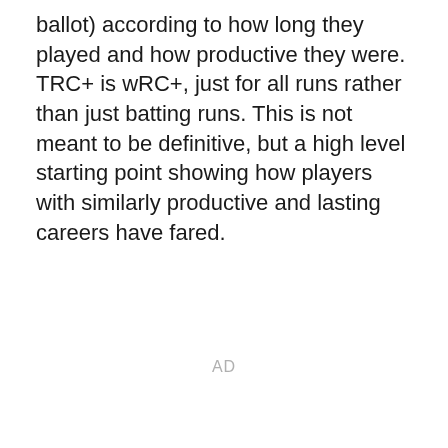ballot) according to how long they played and how productive they were. TRC+ is wRC+, just for all runs rather than just batting runs. This is not meant to be definitive, but a high level starting point showing how players with similarly productive and lasting careers have fared.
AD